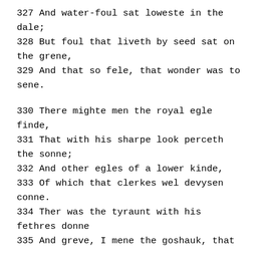327  And water-foul sat loweste in the dale;
328  But foul that liveth by seed sat on the grene,
329  And that so fele, that wonder was to sene.
330  There mighte men the royal egle finde,
331  That with his sharpe look perceth the sonne;
332  And other egles of a lower kinde,
333  Of which that clerkes wel devysen conne.
334  Ther was the tyraunt with his fethres donne
335  And greve, I mene the goshauk, that